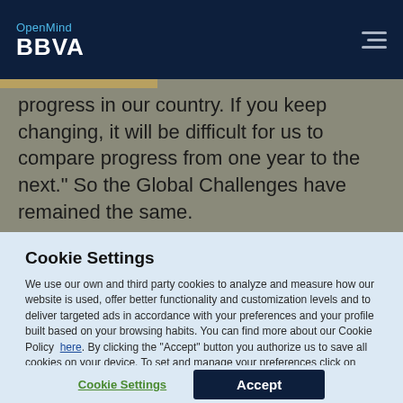OpenMind BBVA
progress in our country. If you keep changing, it will be difficult for us to compare progress from one year to the next.” So the Global Challenges have remained the same.
Cookie Settings
We use our own and third party cookies to analyze and measure how our website is used, offer better functionality and customization levels and to deliver targeted ads in accordance with your preferences and your profile built based on your browsing habits. You can find more about our Cookie Policy here. By clicking the “Accept” button you authorize us to save all cookies on your device. To set and manage your preferences click on “Cookie Settings”.
Cookie Settings | Accept